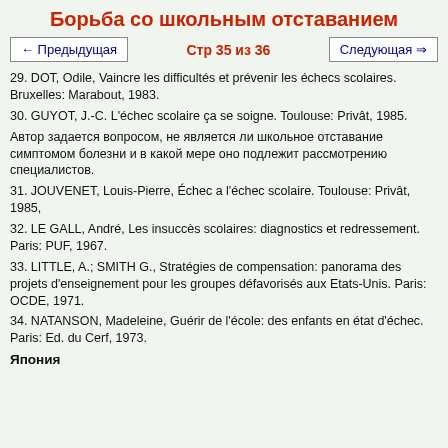Борьба со школьным отставанием
← Предыдущая   Стр 35 из 36   Следующая →
29. DOT, Odile, Vaincre les difficultés et prévenir les échecs scolaires. Bruxelles: Marabout, 1983.
30. GUYOT, J.-C. L'échec scolaire ça se soigne. Toulouse: Privât, 1985.
Автор задается вопросом, не является ли школьное отставание симптомом болезни и в какой мере оно подлежит рассмотрению специалистов.
31. JOUVENET, Louis-Pierre, Échec a l'échec scolaire. Toulouse: Privât, 1985,
32. LE GALL, André, Les insuccès scolaires: diagnostics et redressement. Paris: PUF, 1967.
33. LITTLE, A.; SMITH G., Stratégies de compensation: panorama des projets d'enseignement pour les groupes défavorisés aux Etats-Unis. Paris: OCDE, 1971.
34. NATANSON, Madeleine, Guérir de l'école: des enfants en état d'échec. Paris: Ed. du Cerf, 1973.
Япония